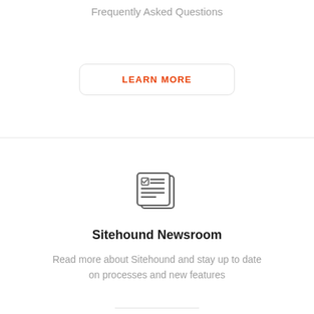Frequently Asked Questions
[Figure (other): LEARN MORE button with rounded border in orange text]
[Figure (illustration): Newspaper/document icon outline]
Sitehound Newsroom
Read more about Sitehound and stay up to date on processes and new features